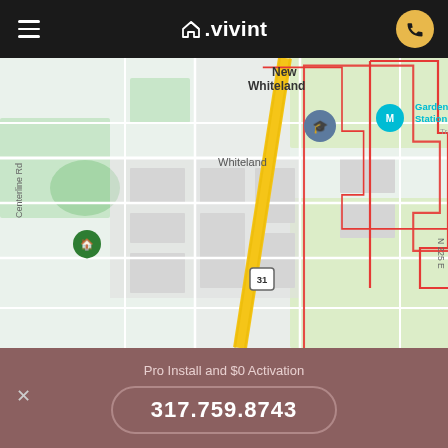Vivint navigation header with hamburger menu and phone button
[Figure (map): Map showing New Whiteland and Whiteland area in Indiana, with route 31 highlighted in yellow, red boundary outline, and location markers including Garden of Gas Station Signs and other points of interest. Roads including N 225 E and Centerline Rd visible.]
Surrounding cities we protect
Pro Install and $0 Activation
317.759.8743